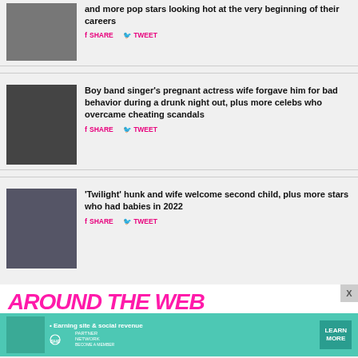...and more pop stars looking hot at the very beginning of their careers — SHARE TWEET
Boy band singer's pregnant actress wife forgave him for bad behavior during a drunk night out, plus more celebs who overcame cheating scandals — SHARE TWEET
'Twilight' hunk and wife welcome second child, plus more stars who had babies in 2022 — SHARE TWEET
AROUND THE WEB
[Figure (photo): SHE Partner Network advertisement banner with woman, earn site and social revenue text, and Learn More button]